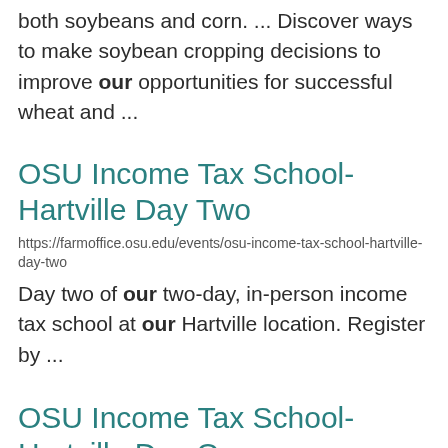both soybeans and corn.  ... Discover ways to make soybean cropping decisions to improve our opportunities for successful wheat and ...
OSU Income Tax School- Hartville Day Two
https://farmoffice.osu.edu/events/osu-income-tax-school-hartville-day-two
Day two of our two-day, in-person income tax school at our Hartville location. Register by ...
OSU Income Tax School- Hartville Day One